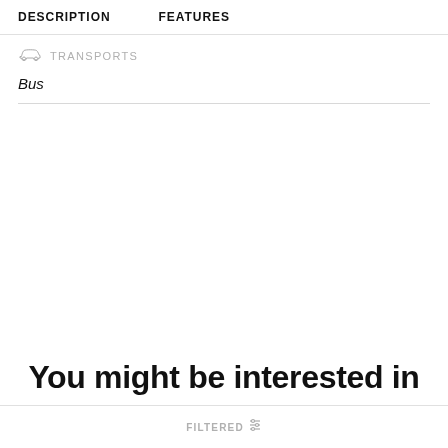DESCRIPTION   FEATURES
TRANSPORTS
Bus
You might be interested in
FILTERED